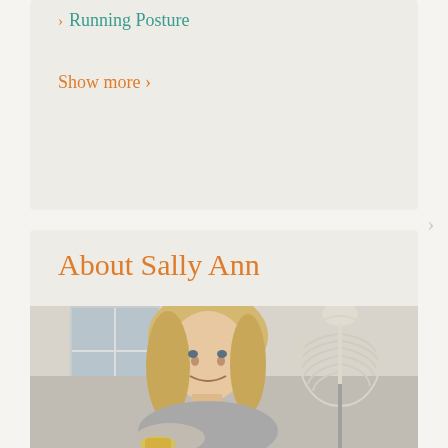Running Posture
Show more ›
About Sally Ann
[Figure (photo): A smiling blonde woman holding a bone/anatomical model, with a human skeleton model visible in the background, in a clinical/office setting.]